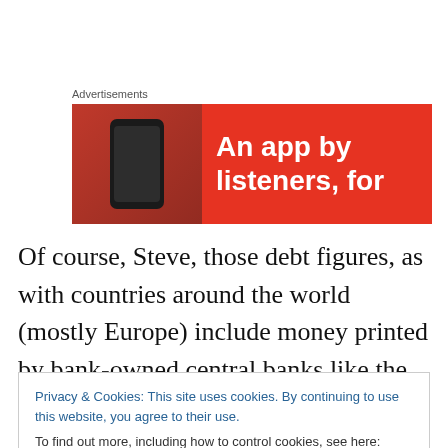Advertisements
[Figure (illustration): Advertisement banner with red background showing a smartphone and text 'An app by listeners, for']
Of course, Steve, those debt figures, as with countries around the world (mostly Europe) include money printed by bank-owned central banks like the Bank of Canada, the European Central Bank, the Bank of England and the
Privacy & Cookies: This site uses cookies. By continuing to use this website, you agree to their use.
To find out more, including how to control cookies, see here: Cookie Policy
the only ones who are going to get stiffed. If firemen, bus